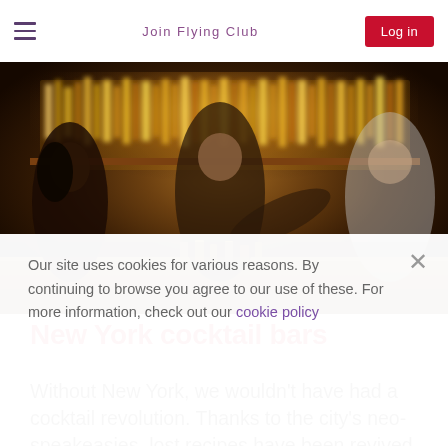Join Flying Club  |  Log in
[Figure (photo): Bartenders working behind a dimly lit bar with bottles of spirits illuminated in the background]
New York cocktail bars
Without New York, we wouldn't have had a cocktail revolution. Thanks to the city's neo-speakeasies, lost recipes have been revived
Our site uses cookies for various reasons. By continuing to browse you agree to our use of these. For more information, check out our cookie policy